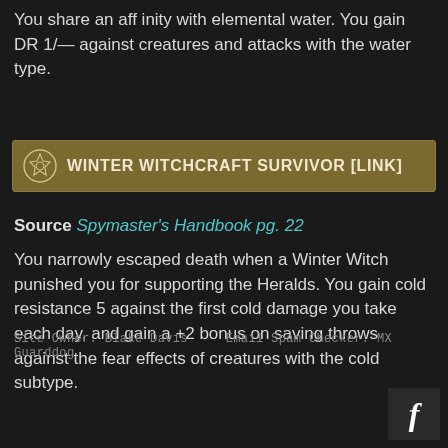You share an affinity with elemental water. You gain DR 1/— against creatures and attacks with the water type.
Winter Witchcraft Survivor [Link]
Source Spymaster's Handbook pg. 22
You narrowly escaped death when a Winter Witch punished you for supporting the Heralds. You gain cold resistance 5 against the first cold damage you take each day, and gain a +2 bonus on saving throws against the fear effects of creatures with the cold subtype.
Site Owner: Blake Davis   Email Spam Checker: MX Guarddog